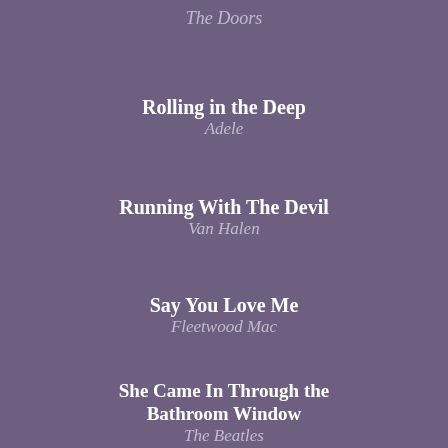The Doors
Rolling in the Deep / Adele
Running With The Devil / Van Halen
Say You Love Me / Fleetwood Mac
She Came In Through the Bathroom Window / The Beatles
Shine / Collective Soul